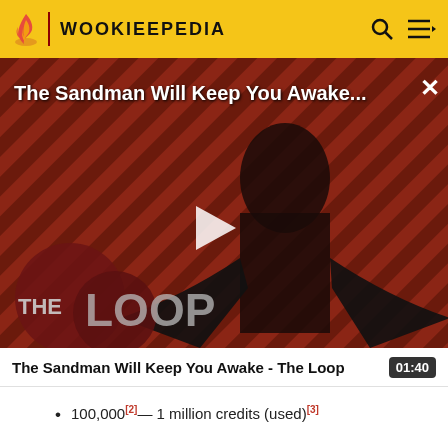WOOKIEEPEDIA
[Figure (screenshot): Video thumbnail for 'The Sandman Will Keep You Awake - The Loop' showing a dark-cloaked figure against a red diagonal striped background with THE LOOP logo and a play button overlay]
The Sandman Will Keep You Awake - The Loop  01:40
100,000[2]— 1 million credits (used)[3]